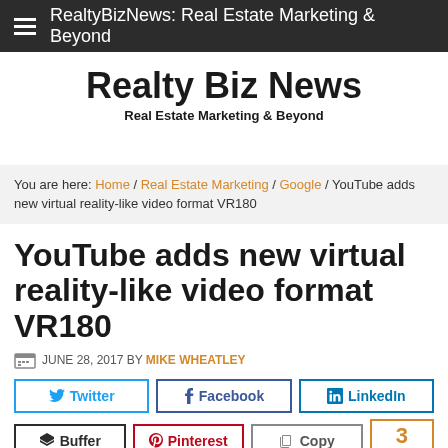RealtyBizNews: Real Estate Marketing & Beyond
Realty Biz News
Real Estate Marketing & Beyond
You are here: Home / Real Estate Marketing / Google / YouTube adds new virtual reality-like video format VR180
YouTube adds new virtual reality-like video format VR180
JUNE 28, 2017 BY MIKE WHEATLEY
Twitter | Facebook | LinkedIn | Buffer | Pinterest | Copy | 3 SHARES